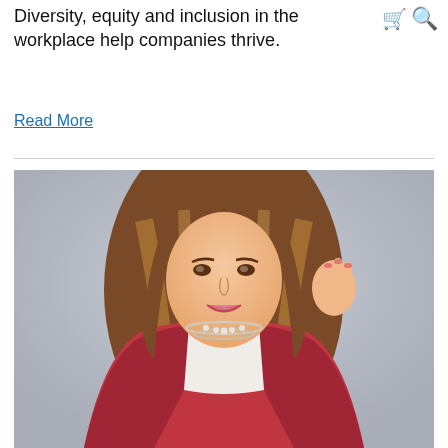Diversity, equity and inclusion in the workplace help companies thrive.
Read More
[Figure (photo): Professional woman with long auburn/highlighted hair, wearing a red blazer and white top with a pearl and silver necklace, smiling and posing with one hand raised near her face against a light grey background.]